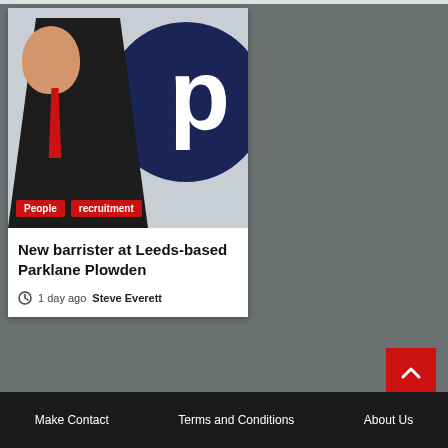[Figure (photo): Photo of a man in a dark suit with red tie, standing in front of a navy blue circular logo with white letter 'p']
People
recruitment
New barrister at Leeds-based Parklane Plowden
1 day ago  Steve Everett
Make Contact   Terms and Conditions   About Us